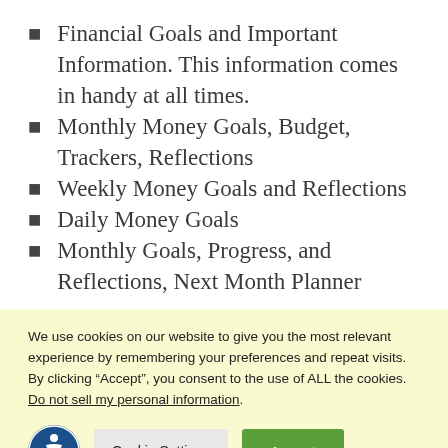Financial Goals and Important Information. This information comes in handy at all times.
Monthly Money Goals, Budget, Trackers, Reflections
Weekly Money Goals and Reflections
Daily Money Goals
Monthly Goals, Progress, and Reflections, Next Month Planner
We use cookies on our website to give you the most relevant experience by remembering your preferences and repeat visits. By clicking “Accept”, you consent to the use of ALL the cookies. Do not sell my personal information.